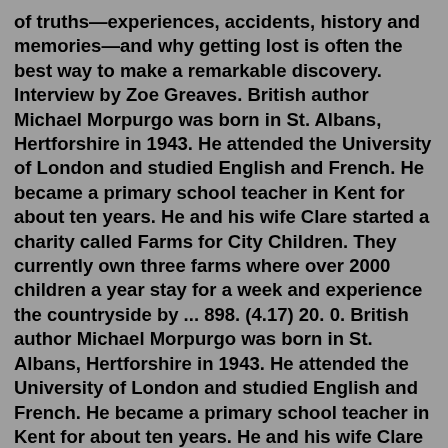of truths—experiences, accidents, history and memories—and why getting lost is often the best way to make a remarkable discovery. Interview by Zoe Greaves. British author Michael Morpurgo was born in St. Albans, Hertforshire in 1943. He attended the University of London and studied English and French. He became a primary school teacher in Kent for about ten years. He and his wife Clare started a charity called Farms for City Children. They currently own three farms where over 2000 children a year stay for a week and experience the countryside by ... 898. (4.17) 20. 0. British author Michael Morpurgo was born in St. Albans, Hertforshire in 1943. He attended the University of London and studied English and French. He became a primary school teacher in Kent for about ten years. He and his wife Clare started a charity called Farms for City Children. Michael Morpurgo OBE is one of Britain's best loved writers for children. He has written over 100 books and won many prizes, including the